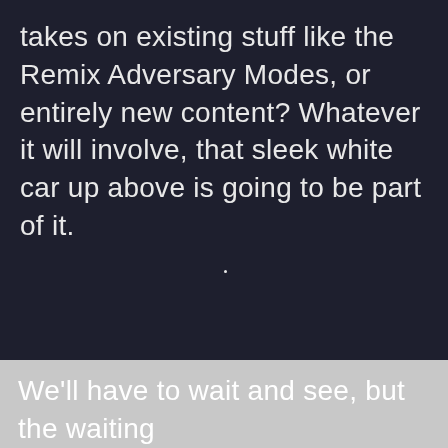takes on existing stuff like the Remix Adversary Modes, or entirely new content? Whatever it will involve, that sleek white car up above is going to be part of it.
We'll have to wait and see, but the waiting bit won't take too long!